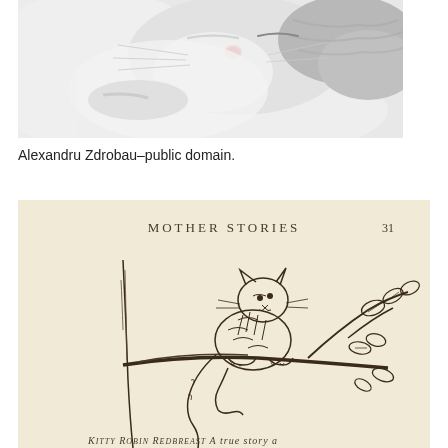[Figure (photo): Close-up photo of a sleeping cat with white and grey tabby fur, pink nose visible, soft focus background]
Alexandru Zdrobau–public domain.
[Figure (illustration): Vintage pen-and-ink illustration from 'Mother Stories' (page 31) showing a cat climbing or perched on a tree branch with leaves]